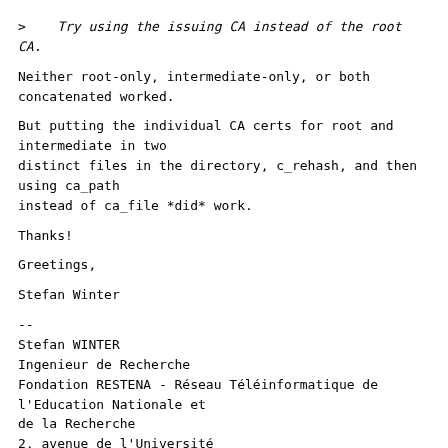>    Try using the issuing CA instead of the root CA.
Neither root-only, intermediate-only, or both concatenated worked.
But putting the individual CA certs for root and intermediate in two distinct files in the directory, c_rehash, and then using ca_path instead of ca_file *did* work.
Thanks!
Greetings,
Stefan Winter
--
Stefan WINTER
Ingenieur de Recherche
Fondation RESTENA - Réseau Téléinformatique de l'Education Nationale et
de la Recherche
2, avenue de l'Université
L-4365 Esch-sur-Alzette

Tel: +352 424409 1
Fax: +352 422473

PGP key updated to 4096 Bit RSA - I will encrypt all